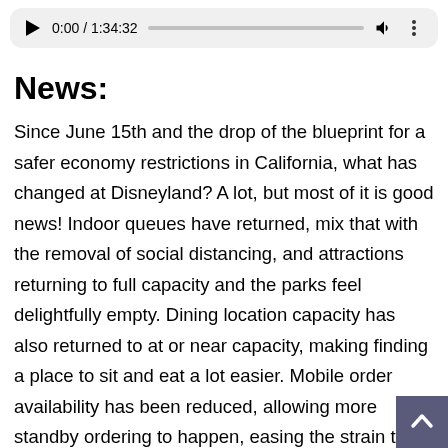[Figure (screenshot): Audio/video media player bar showing play button, time 0:00 / 1:34:32, progress bar, volume icon, and more options icon on a light gray rounded background.]
News:
Since June 15th and the drop of the blueprint for a safer economy restrictions in California, what has changed at Disneyland? A lot, but most of it is good news! Indoor queues have returned, mix that with the removal of social distancing, and attractions returning to full capacity and the parks feel delightfully empty. Dining location capacity has also returned to at or near capacity, making finding a place to sit and eat a lot easier. Mobile order availability has been reduced, allowing more standby ordering to happen, easing the strain to get food. Stores have also returned to full capacity, removing the need for one way entrance and exits of retail locations, making access much easier. – https://www.micechat.com/294489-disneyland-update-the-opening-for-attraction-returns-and-